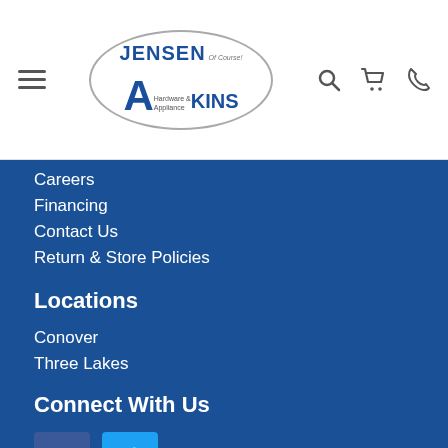[Figure (logo): Jensen Akins Hardware & Appliance logo inside an oval, with hamburger menu icon on left and search, cart, phone icons on right]
Careers
Financing
Contact Us
Return & Store Policies
Locations
Conover
Three Lakes
Connect With Us
[Figure (illustration): Facebook and Twitter social media icon buttons]